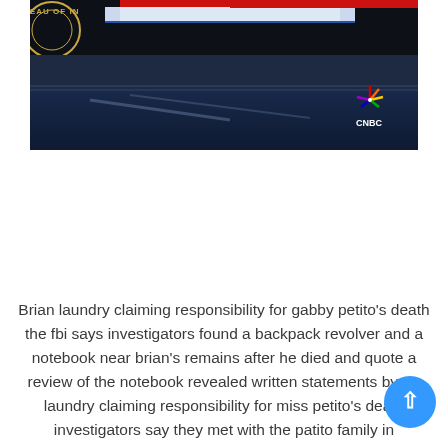[Figure (screenshot): A screenshot of a CNBC news broadcast showing a studio set with FBI branding visible, including the words 'EAU OF IN' (partial 'Bureau of Investigation' text), studio desk, and the CNBC peacock logo in the lower right corner. The image has a dark blue/black color scheme typical of a TV news studio.]
Brian laundry claiming responsibility for gabby petito's death the fbi says investigators found a backpack revolver and a notebook near brian's remains after he died and quote a review of the notebook revealed written statements by mr laundry claiming responsibility for miss petito's death investigators say they met with the patito family in